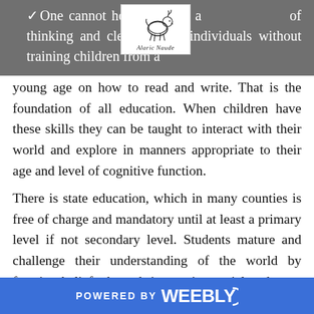One cannot hope to build a society of thinking and clear minded individuals without training children from a young age on how to read and write. That is the foundation of all education. When children have these skills they can be taught to interact with their world and explore in manners appropriate to their age and level of cognitive function.
[Figure (logo): Logo with a deer/goat animal illustration and Gothic text reading 'Alaric Naude']
There is state education, which in many counties is free of charge and mandatory until at least a primary level if not secondary level. Students mature and challenge their understanding of the world by forming beliefs through interactions, trial and error as well as experimentation. When they have reached secondary level (high school) they should be beginning to approach some level of
POWERED BY weebly